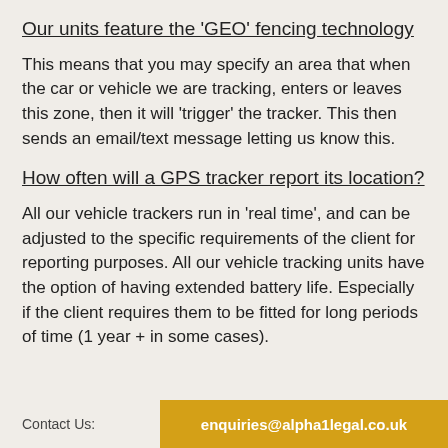Our units feature the 'GEO' fencing technology
This means that you may specify an area that when the car or vehicle we are tracking, enters or leaves this zone, then it will 'trigger' the tracker. This then sends an email/text message letting us know this.
How often will a GPS tracker report its location?
All our vehicle trackers run in 'real time', and can be adjusted to the specific requirements of the client for reporting purposes. All our vehicle tracking units have the option of having extended battery life. Especially if the client requires them to be fitted for long periods of time (1 year + in some cases).
Contact Us:  enquiries@alpha1legal.co.uk